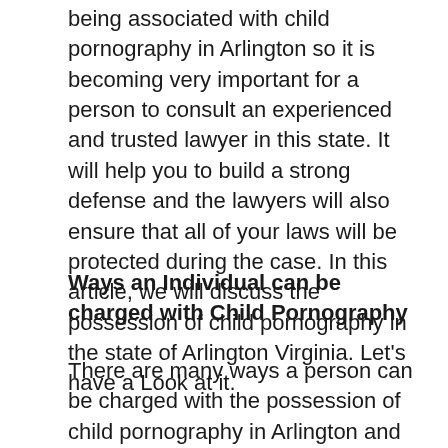being associated with child pornography in Arlington so it is becoming very important for a person to consult an experienced and trusted lawyer in this state. It will help you to build a strong defense and the lawyers will also ensure that all of your laws will be protected during the case. In this article, we will discuss the possession of child pornography in the state of Arlington Virginia. Let's have a Look at it.
Ways an Individual can be charged with Child Pornography
There are many ways a person can be charged with the possession of child pornography in Arlington and we are going to discuss them below.